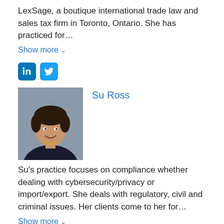LexSage, a boutique international trade law and sales tax firm in Toronto, Ontario. She has practiced for…
Show more ∨
[Figure (other): LinkedIn and Twitter social media icons]
[Figure (photo): Headshot photo of Su Ross, a woman smiling]
Su Ross
Su's practice focuses on compliance whether dealing with cybersecurity/privacy or import/export. She deals with regulatory, civil and criminal issues. Her clients come to her for…
Show more ∨
[Figure (other): LinkedIn, Twitter, and Facebook social media icons]
[Figure (photo): Headshot photo of Heather Innes, a woman with blonde hair]
Heather Innes